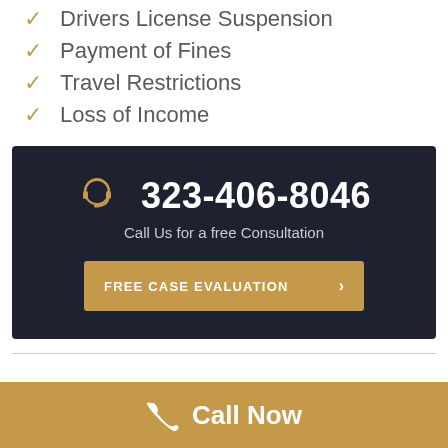Drivers License Suspension
Payment of Fines
Travel Restrictions
Loss of Income
[Figure (infographic): Dark box with headset icon, phone number 323-406-8046, subtitle 'Call Us for a free Consultation', and a gold 'FREE CASE EVALUATION' button with chevron arrow.]
Call Now